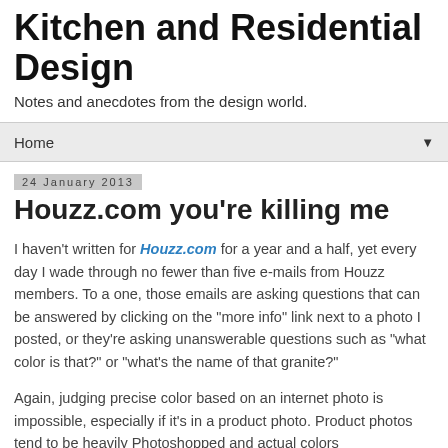Kitchen and Residential Design
Notes and anecdotes from the design world.
Home
24 January 2013
Houzz.com you're killing me
I haven't written for Houzz.com for a year and a half, yet every day I wade through no fewer than five e-mails from Houzz members. To a one, those emails are asking questions that can be answered by clicking on the "more info" link next to a photo I posted, or they're asking unanswerable questions such as "what color is that?" or "what's the name of that granite?"
Again, judging precise color based on an internet photo is impossible, especially if it's in a product photo. Product photos tend to be heavily Photoshopped and actual colors